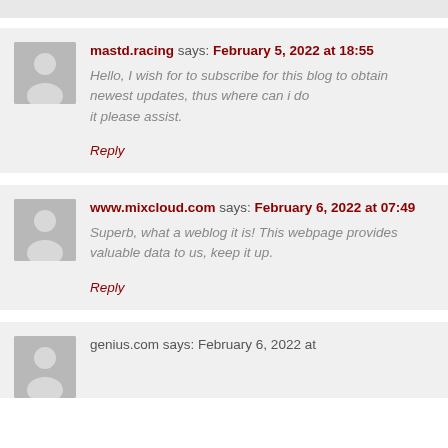mastd.racing says: February 5, 2022 at 18:55
Hello, I wish for to subscribe for this blog to obtain newest updates, thus where can i do
it please assist.
Reply
www.mixcloud.com says: February 6, 2022 at 07:49
Superb, what a weblog it is! This webpage provides valuable data to us, keep it up.
Reply
genius.com says: February 6, 2022 at